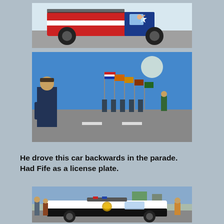[Figure (photo): A patriotic-themed monster truck painted with red, white, and blue American flag designs, with a person waving from the driver window, at a parade.]
[Figure (photo): A color guard marching in a parade carrying multiple flags including the American flag, Arizona state flag, and other flags, with a woman in a hat watching in the foreground.]
He drove this car backwards in the parade. Had Fife as a license plate.
[Figure (photo): A vintage police car (black and white) with a light bar on top, participating in a parade, with people standing nearby.]